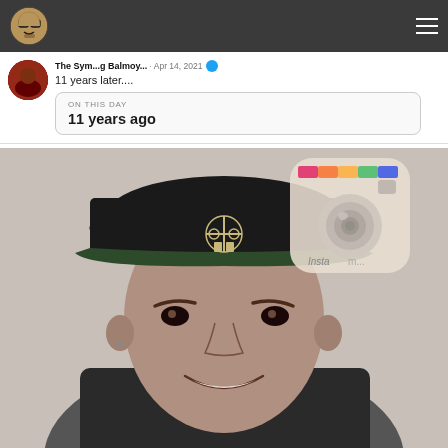Navigation bar with logo and menu
The Sym...g Balmoy... · Apr 14, 2021
11 years later....
ON THIS DAY
11 years ago
[Figure (photo): Photo of a young person wearing a black snapback hat with a decorative emblem, smiling. An Instagram logo/icon is visible in the upper right of the photo. The image is in black and white/desaturated tones.]